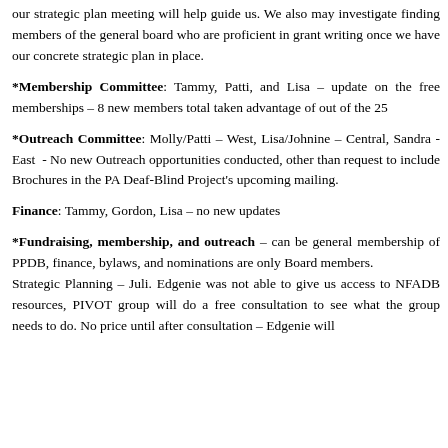our strategic plan meeting will help guide us. We also may investigate finding members of the general board who are proficient in grant writing once we have our concrete strategic plan in place.
*Membership Committee: Tammy, Patti, and Lisa – update on the free memberships – 8 new members total taken advantage of out of the 25
*Outreach Committee: Molly/Patti – West, Lisa/Johnine – Central, Sandra - East - No new Outreach opportunities conducted, other than request to include Brochures in the PA Deaf-Blind Project's upcoming mailing.
Finance: Tammy, Gordon, Lisa – no new updates
*Fundraising, membership, and outreach – can be general membership of PPDB, finance, bylaws, and nominations are only Board members. Strategic Planning – Juli. Edgenie was not able to give us access to NFADB resources, PIVOT group will do a free consultation to see what the group needs to do. No price until after consultation – Edgenie will